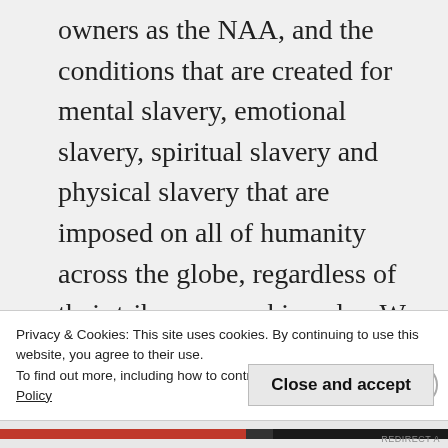owners as the NAA, and the conditions that are created for mental slavery, emotional slavery, spiritual slavery and physical slavery that are imposed on all of humanity across the globe, regardless of their tribe, sex or skin color. We may only think of slavery as a physical event, in which a ball and chain or four walls have imprisoned the physical body. However, slavery extends to the mind, emotions and spirit. To understand the effects of world slavery and how it has impacted all
Privacy & Cookies: This site uses cookies. By continuing to use this website, you agree to their use.
To find out more, including how to control cookies, see here: Cookie Policy
Close and accept
REDIRECT A